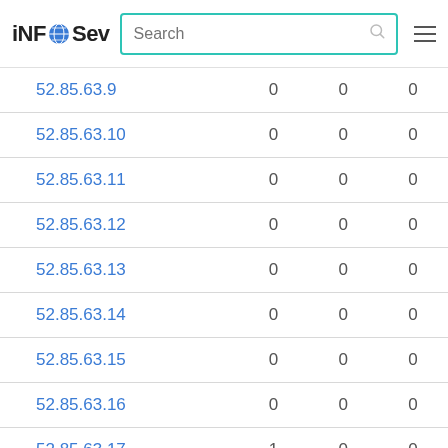iNFOSev — Search bar and navigation
| 52.85.63.9 | 0 | 0 | 0 |
| 52.85.63.10 | 0 | 0 | 0 |
| 52.85.63.11 | 0 | 0 | 0 |
| 52.85.63.12 | 0 | 0 | 0 |
| 52.85.63.13 | 0 | 0 | 0 |
| 52.85.63.14 | 0 | 0 | 0 |
| 52.85.63.15 | 0 | 0 | 0 |
| 52.85.63.16 | 0 | 0 | 0 |
| 52.85.63.17 | 1 | 0 | 0 |
| 52.85.63.18 | 0 | 0 | 0 |